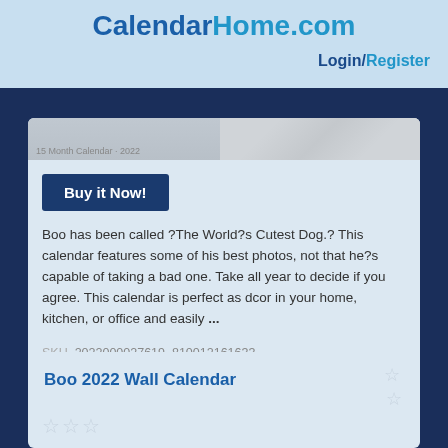CalendarHome.com Login/Register
[Figure (photo): Partial product image of a dog calendar at top of card, showing fur/paw detail with text '15 Month Calendar · 2022']
Buy it Now!
Boo has been called ?The World?s Cutest Dog.? This calendar features some of his best photos, not that he?s capable of taking a bad one. Take all year to decide if you agree. This calendar is perfect as dcor in your home, kitchen, or office and easily ...
SKU  2022000027619  810012161633
Boo 2022 Wall Calendar